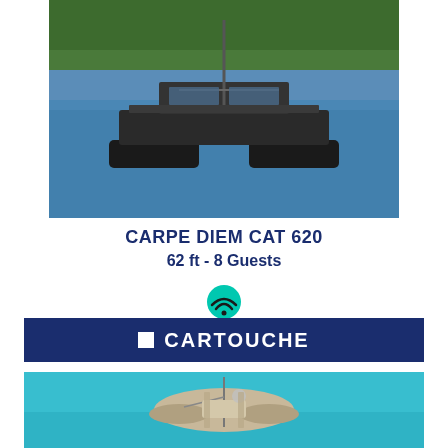[Figure (photo): Aerial/side view of a large black catamaran sailing yacht anchored in blue water with green forested hills in the background. The vessel is a modern catamaran with twin hulls and a tall mast.]
CARPE DIEM CAT 620
62 ft - 8 Guests
[Figure (other): WiFi signal icon in teal/cyan color on white background]
CARTOUCHE
[Figure (photo): Aerial top-down view of a large sailing catamaran on turquoise blue water. The yacht appears to be a classic/traditional style with beige/grey deck, viewed from above slightly from the front.]